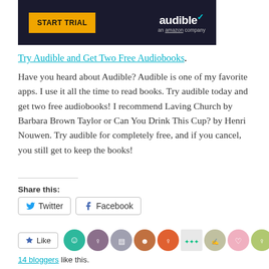[Figure (screenshot): Audible advertisement banner with dark background, orange 'START TRIAL' button and Audible logo.]
Try Audible and Get Two Free Audiobooks.
Have you heard about Audible? Audible is one of my favorite apps. I use it all the time to read books. Try audible today and get two free audiobooks! I recommend Laving Church by Barbara Brown Taylor or Can You Drink This Cup? by Henri Nouwen. Try audible for completely free, and if you cancel, you still get to keep the books!
Share this:
Twitter
Facebook
Like
14 bloggers like this.